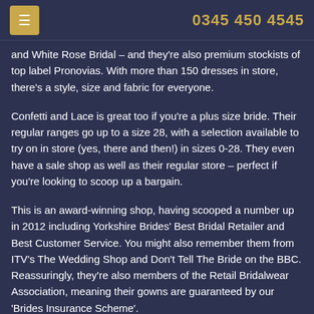≡  0345 450 4545
and White Rose Bridal – and they're also premium stockists of top label Pronovias. With more than 150 dresses in store, there's a style, size and fabric for everyone.
Confetti and Lace is great too if you're a plus size bride. Their regular ranges go up to a size 28, with a selection available to try on in store (yes, there and then!) in sizes 0-28. They even have a sale shop as well as their regular store – perfect if you're looking to scoop up a bargain.
This is an award-winning shop, having scooped a number up in 2012 including Yorkshire Brides' Best Bridal Retailer and Best Customer Service. You might also remember them from ITV's The Wedding Shop and Don't Tell The Bride on the BBC. Reassuringly, they're also members of the Retail Bridalwear Association, meaning their gowns are guaranteed by our 'Brides Insurance Scheme'.
This is a guide to wedding suppliers in the Leeds area. Dine is not endorsing or recommending these companies and we